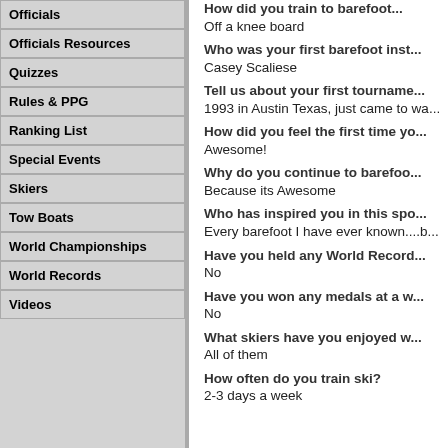Officials
Officials Resources
Quizzes
Rules & PPG
Ranking List
Special Events
Skiers
Tow Boats
World Championships
World Records
Videos
Off a knee board
Casey Scaliese
1993 in Austin Texas, just came to wa...
Awesome!
Because its Awesome
Every barefoot I have ever known....b...
No
No
All of them
2-3 days a week